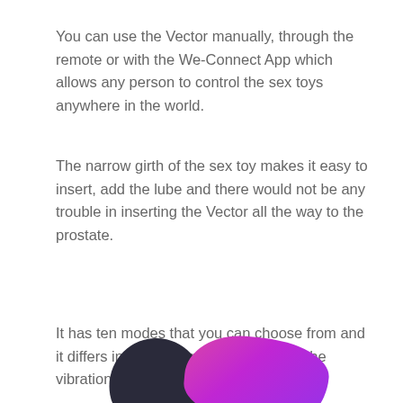You can use the Vector manually, through the remote or with the We-Connect App which allows any person to control the sex toys anywhere in the world.
The narrow girth of the sex toy makes it easy to insert, add the lube and there would not be any trouble in inserting the Vector all the way to the prostate.
It has ten modes that you can choose from and it differs in the pattern and strength of the vibration or the pulse.
[Figure (photo): Partial view of two product items at the bottom of the page — a dark-colored device on the left and a pink/purple device on the right, partially cropped.]